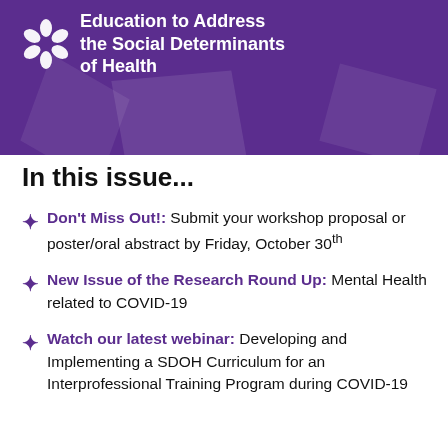[Figure (illustration): Purple banner header with white snowflake/asterisk logo on left and bold white title text reading 'Education to Address the Social Determinants of Health'. Decorative lighter purple geometric shapes in background.]
In this issue...
Don't Miss Out!: Submit your workshop proposal or poster/oral abstract by Friday, October 30th
New Issue of the Research Round Up: Mental Health related to COVID-19
Watch our latest webinar: Developing and Implementing a SDOH Curriculum for an Interprofessional Training Program during COVID-19